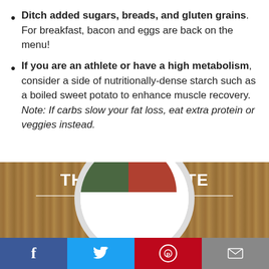Ditch added sugars, breads, and gluten grains. For breakfast, bacon and eggs are back on the menu!
If you are an athlete or have a high metabolism, consider a side of nutritionally-dense starch such as a boiled sweet potato to enhance muscle recovery. Note: If carbs slow your fat loss, eat extra protein or veggies instead.
[Figure (infographic): The Wild Plate infographic showing a divided dinner plate on a wood-grain background with 'THE WILD PLATE' title text and social sharing bar (Facebook, Twitter, Pinterest, Email) at the bottom]